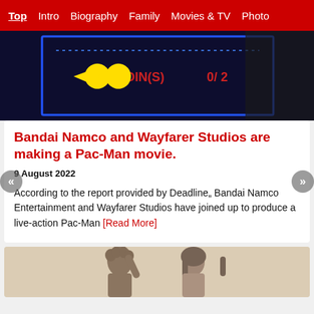Top  Intro  Biography  Family  Movies & TV  Photo
[Figure (photo): Pac-Man arcade machine screen showing 'COIN(S) 0/ 2' on a dark blue background with neon blue borders and yellow Pac-Man characters]
Bandai Namco and Wayfarer Studios are making a Pac-Man movie.
9 August 2022
According to the report provided by Deadline„ Bandai Namco Entertainment and Wayfarer Studios have joined up to produce a live-action Pac-Man [Read More]
[Figure (photo): Two people photographed from below, one with curly hair raising their arm, against a light background]